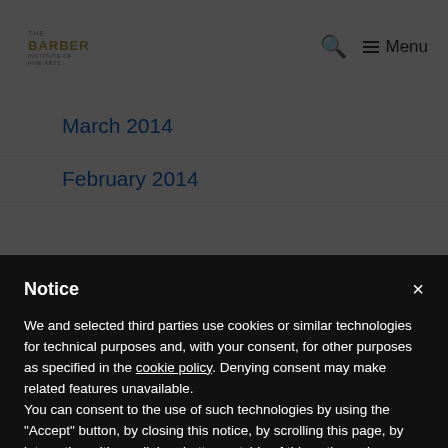THE BARBER INSTITUTE OF FINE ARTS | Search | Menu
March 2014
February 2014
Notice
We and selected third parties use cookies or similar technologies for technical purposes and, with your consent, for other purposes as specified in the cookie policy. Denying consent may make related features unavailable.
You can consent to the use of such technologies by using the "Accept" button, by closing this notice, by scrolling this page, by interacting with any link or button outside of this notice or by continuing to browse otherwise.
Accept
Learn more and customize